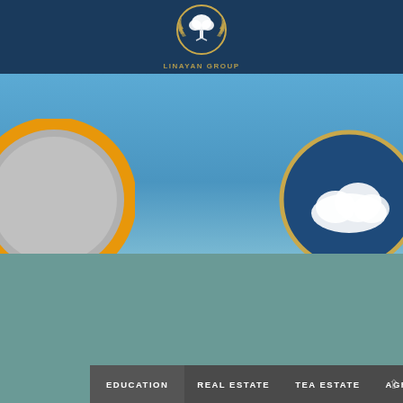[Figure (logo): Circular logo with white tree/oak silhouette and gold laurel wreath border on dark blue background, with text 'LINAYAN GROUP' below]
[Figure (photo): Blue sky background with two partially visible circular graphic elements: left circle has orange/gold ring border with grey/silver interior, right circle has gold ring border with dark blue interior and white cloud-like shape]
EDUCATION   REAL ESTATE   TEA ESTATE   AGRICULTURE